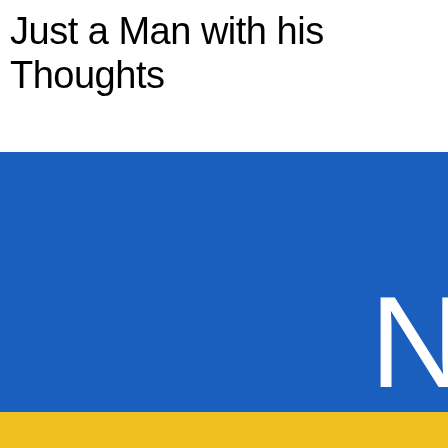Just a Man with his Thoughts
[Figure (illustration): A large blue rectangle occupying most of the lower portion of the page, with large white text 'NO' partially visible at the right side, and a yellow/gold band at the very bottom.]